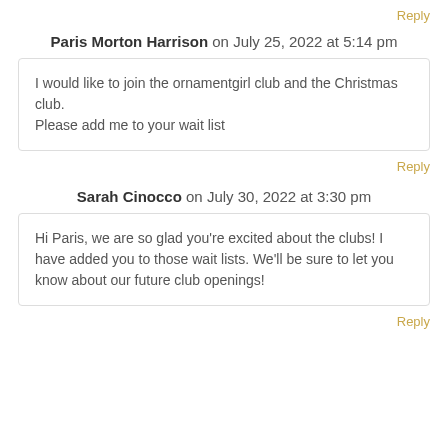Reply
Paris Morton Harrison on July 25, 2022 at 5:14 pm
I would like to join the ornamentgirl club and the Christmas club.
Please add me to your wait list
Reply
Sarah Cinocco on July 30, 2022 at 3:30 pm
Hi Paris, we are so glad you're excited about the clubs! I have added you to those wait lists. We'll be sure to let you know about our future club openings!
Reply